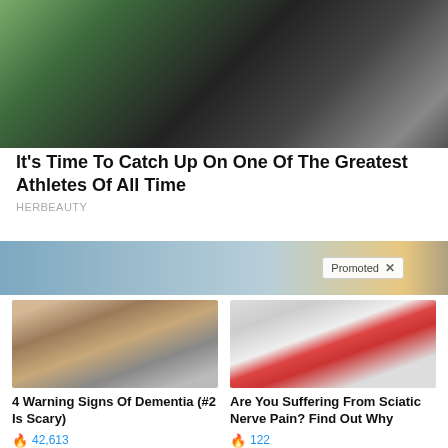[Figure (photo): Person standing next to a large black vehicle outdoors, green grass and fence in background]
It's Time To Catch Up On One Of The Greatest Athletes Of All Time
HERBEAUTY
[Figure (photo): Promoted content banner image with a Promoted × badge overlay]
[Figure (photo): Elderly person sitting on bed, appearing distressed — used for dementia article]
4 Warning Signs Of Dementia (#2 Is Scary)
42,613
[Figure (illustration): Medical illustration of human skeleton pelvis with red highlighted sciatic nerve areas]
Are You Suffering From Sciatic Nerve Pain? Find Out Why
122